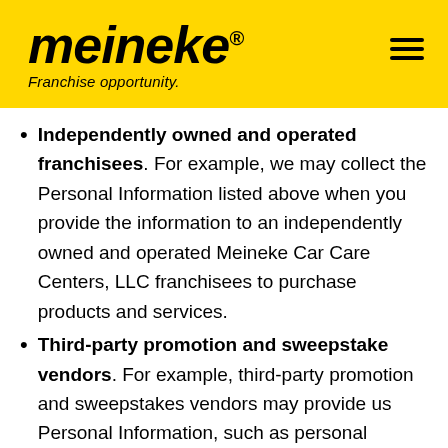meineke® Franchise opportunity.
Independently owned and operated franchisees. For example, we may collect the Personal Information listed above when you provide the information to an independently owned and operated Meineke Car Care Centers, LLC franchisees to purchase products and services.
Third-party promotion and sweepstake vendors. For example, third-party promotion and sweepstakes vendors may provide us Personal Information, such as personal identifiers and/or personal information categories